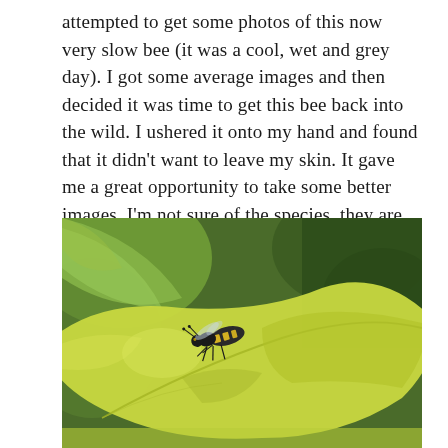attempted to get some photos of this now very slow bee (it was a cool, wet and grey day). I got some average images and then decided it was time to get this bee back into the wild. I ushered it onto my hand and found that it didn't want to leave my skin. It gave me a great opportunity to take some better images. I'm not sure of the species, they are difficult to separate.
[Figure (photo): Close-up macro photograph of a small bee (yellow and black striped, resembling a solitary bee or small wasp) resting on a large yellowish-green leaf, with green foliage blurred in the background.]